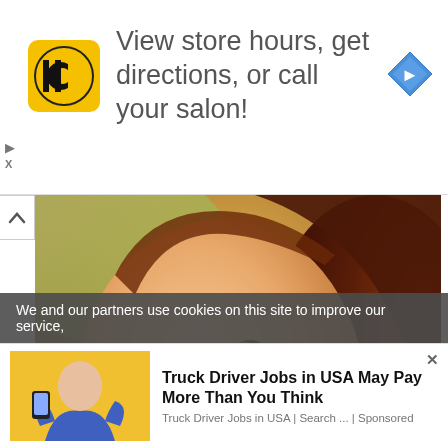[Figure (infographic): HC Salon advertisement banner: yellow/black HC logo square, text 'View store hours, get directions, or call your salon!', blue diamond navigation icon on right]
[Figure (photo): Close-up photo of a smiling young girl with long brown hair, wearing what appears to be a pink top, photographed outdoors with warm colors in background]
We and our partners use cookies on this site to improve our service,
[Figure (infographic): Bottom ad: image of woman in blue hoodie with yellow background on left, text 'Truck Driver Jobs in USA May Pay More Than You Think' with source 'Truck Driver Jobs in USA | Search ... | Sponsored']